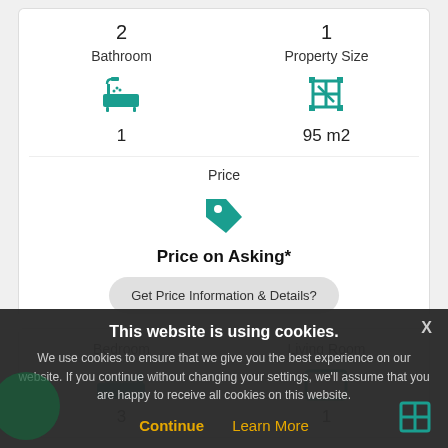2
1
Bathroom
[Figure (illustration): Teal bathtub icon]
1
Property Size
[Figure (illustration): Teal crop/resize icon]
95 m2
Price
[Figure (illustration): Teal price tag icon]
Price on Asking*
Get Price Information & Details?
Bedroom
Living Room
[Figure (illustration): Teal bed icon (partial)]
3
[Figure (illustration): Teal TV/screen icon (partial)]
1
This website is using cookies.
We use cookies to ensure that we give you the best experience on our website. If you continue without changing your settings, we'll assume that you are happy to receive all cookies on this website.
Continue
Learn More